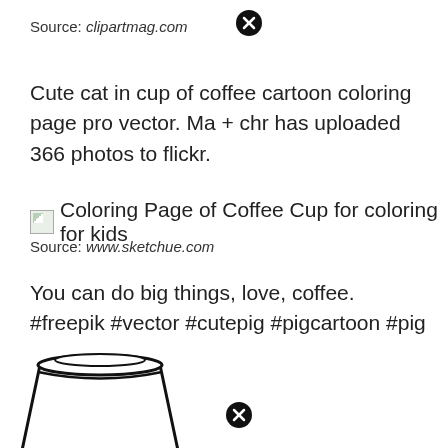Source: clipartmag.com
[Figure (illustration): Close button (X icon) top right]
Cute cat in cup of coffee cartoon coloring page pro vector. Ma + chr has uploaded 366 photos to flickr.
[Figure (illustration): Broken image icon followed by alt text: Coloring Page of Coffee Cup for coloring for kids]
Source: www.sketchue.com
You can do big things, love, coffee. #freepik #vector #cutepig #pigcartoon #pig
[Figure (illustration): Line drawing of a takeaway coffee cup (to-go cup with lid), partially visible at bottom of page]
[Figure (illustration): Close button (X icon) bottom]